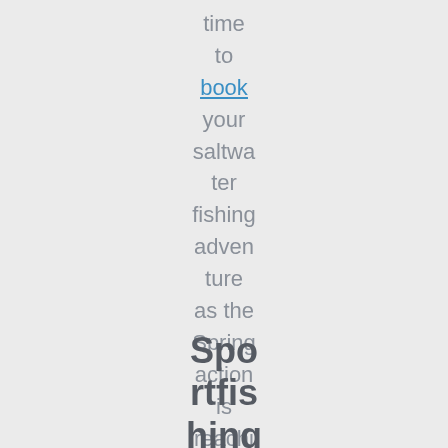time to book your saltwater fishing adventure as the Spring action is reaching its PEAK!
Sportfishing